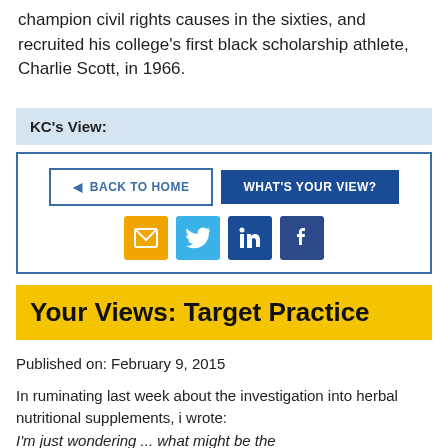champion civil rights causes in the sixties, and recruited his college's first black scholarship athlete, Charlie Scott, in 1966.
KC's View:
[Figure (infographic): Navigation buttons: BACK TO HOME and WHAT'S YOUR VIEW?, with social sharing icons for email, Twitter, LinkedIn, and Facebook]
Your Views: Target Practice
Published on: February 9, 2015
In ruminating last week about the investigation into herbal nutritional supplements, i wrote:
I'm just wondering ... what might be the